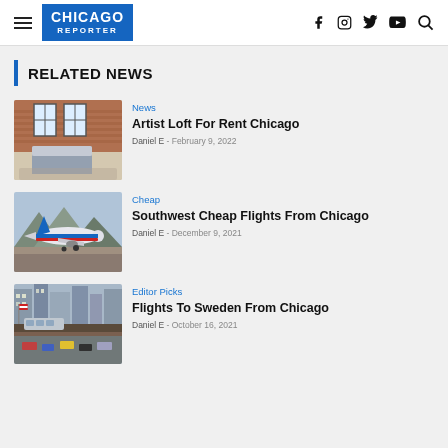CHICAGO REPORTER — navigation header with social icons
RELATED NEWS
[Figure (photo): Artist loft bedroom with large windows, brick wall, and a bed with grey covering]
News
Artist Loft For Rent Chicago
Daniel E  -  February 9, 2022
[Figure (photo): Southwest Airlines plane landing with mountains in background]
Cheap
Southwest Cheap Flights From Chicago
Daniel E  -  December 9, 2021
[Figure (photo): Chicago elevated train and busy city street with skyscrapers]
Editor Picks
Flights To Sweden From Chicago
Daniel E  -  October 16, 2021